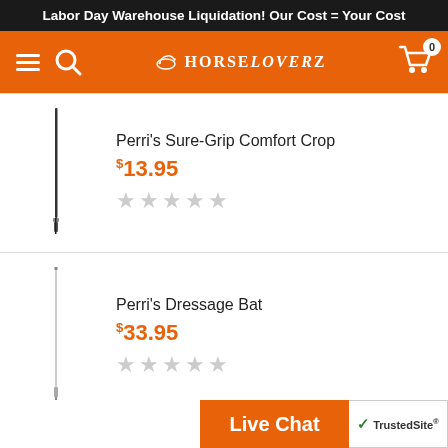Labor Day Warehouse Liquidation! Our Cost = Your Cost
[Figure (screenshot): HorseLoverZ navigation bar with hamburger menu, search icon, logo, and shopping cart with 0 items]
[Figure (photo): Perri's Sure-Grip Comfort Crop riding crop product image]
Perri's Sure-Grip Comfort Crop
$13.95
[Figure (other): 5 empty star rating icons]
[Figure (photo): Perri's Dressage Bat product image]
Perri's Dressage Bat
$33.95
[Figure (other): 5 empty star rating icons]
Live Chat
[Figure (logo): TrustedSite logo with green checkmark]